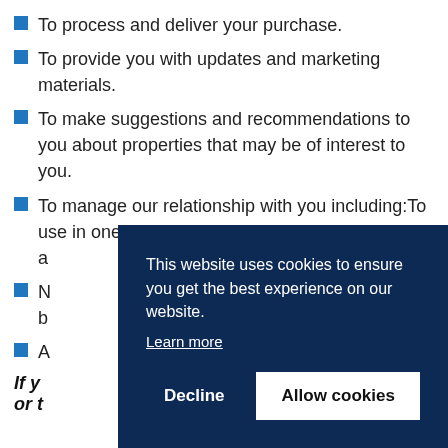To process and deliver your purchase.
To provide you with updates and marketing materials.
To make suggestions and recommendations to you about properties that may be of interest to you.
To manage our relationship with you including:To use in one of our “moving-in s... a...
N... b...
A...
If y... or t...
This website uses cookies to ensure you get the best experience on our website. Learn more